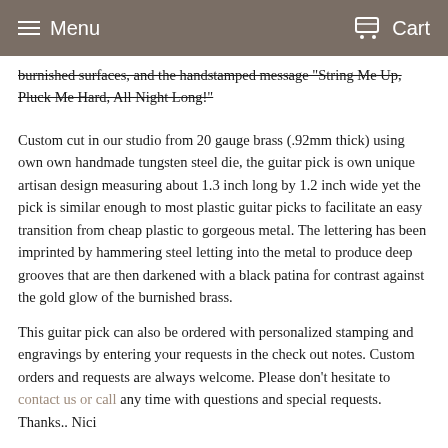Menu  Cart
burnished surfaces, and the handstamped message "String Me Up, Pluck Me Hard, All Night Long!"
Custom cut in our studio from 20 gauge brass (.92mm thick) using own own handmade tungsten steel die, the guitar pick is own unique artisan design measuring about 1.3 inch long by 1.2 inch wide yet the pick is similar enough to most plastic guitar picks to facilitate an easy transition from cheap plastic to gorgeous metal. The lettering has been imprinted by hammering steel letting into the metal to produce deep grooves that are then darkened with a black patina for contrast against the gold glow of the burnished brass.
This guitar pick can also be ordered with personalized stamping and engravings by entering your requests in the check out notes. Custom orders and requests are always welcome. Please don't hesitate to contact us or call any time with questions and special requests. Thanks.. Nici